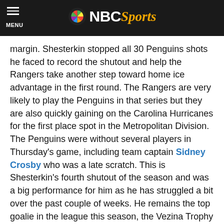MENU | NBC Sports
margin. Shesterkin stopped all 30 Penguins shots he faced to record the shutout and help the Rangers take another step toward home ice advantage in the first round. The Rangers are very likely to play the Penguins in that series but they are also quickly gaining on the Carolina Hurricanes for the first place spot in the Metropolitan Division. The Penguins were without several players in Thursday’s game, including team captain Sidney Crosby who was a late scratch. This is Shesterkin’s fourth shutout of the season and was a big performance for him as he has struggled a bit over the past couple of weeks. He remains the top goalie in the league this season, the Vezina Trophy front-runner and a leading MVP candidate.
Highlights from around the NHL on Thursday